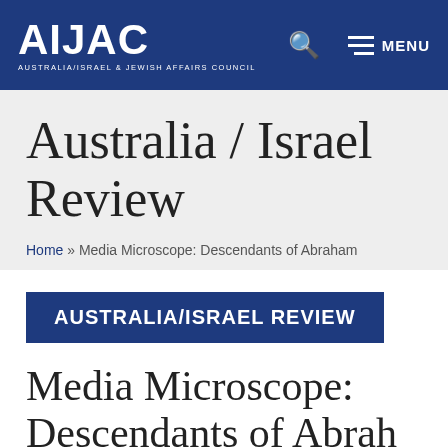AIJAC — AUSTRALIA/ISRAEL & JEWISH AFFAIRS COUNCIL — [Search] [Menu]
Australia / Israel Review
Home » Media Microscope: Descendants of Abraham
AUSTRALIA/ISRAEL REVIEW
Media Microscope: Descendants of Abraham